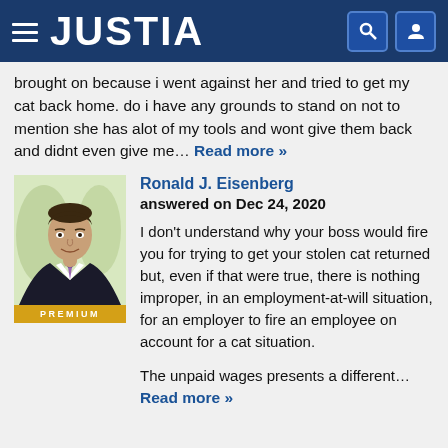JUSTIA
brought on because i went against her and tried to get my cat back home. do i have any grounds to stand on not to mention she has alot of my tools and wont give them back and didnt even give me… Read more »
Ronald J. Eisenberg
answered on Dec 24, 2020
I don't understand why your boss would fire you for trying to get your stolen cat returned but, even if that were true, there is nothing improper, in an employment-at-will situation, for an employer to fire an employee on account for a cat situation.

The unpaid wages presents a different…
Read more »